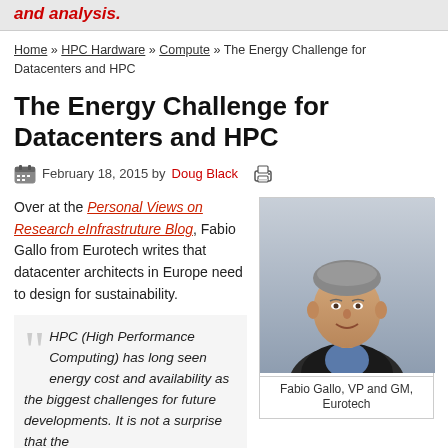and analysis.
Home » HPC Hardware » Compute » The Energy Challenge for Datacenters and HPC
The Energy Challenge for Datacenters and HPC
February 18, 2015 by Doug Black
Over at the Personal Views on Research eInfrastruture Blog, Fabio Gallo from Eurotech writes that datacenter architects in Europe need to design for sustainability.
[Figure (photo): Portrait photo of Fabio Gallo, VP and GM, Eurotech]
Fabio Gallo, VP and GM, Eurotech
HPC (High Performance Computing) has long seen energy cost and availability as the biggest challenges for future developments. It is not a surprise that the